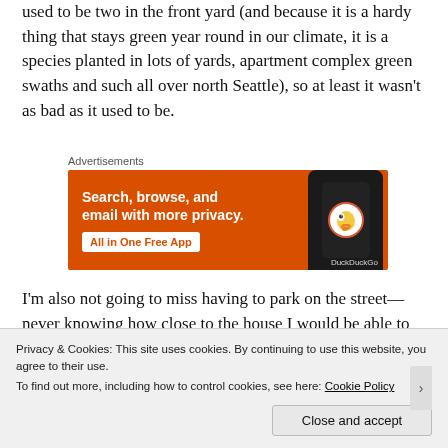used to be two in the front yard (and because it is a hardy thing that stays green year round in our climate, it is a species planted in lots of yards, apartment complex green swaths and such all over north Seattle), so at least it wasn’t as bad as it used to be.
Advertisements
[Figure (illustration): DuckDuckGo advertisement banner with orange background showing phone, text: Search, browse, and email with more privacy. All in One Free App]
I’m also not going to miss having to park on the street—never knowing how close to the house I would be able to
Privacy & Cookies: This site uses cookies. By continuing to use this website, you agree to their use.
To find out more, including how to control cookies, see here: Cookie Policy